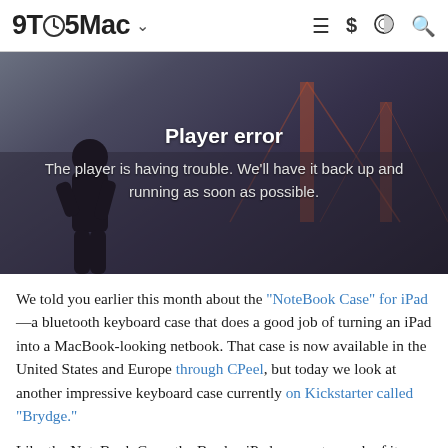9TO5Mac
[Figure (screenshot): Video player error screen showing a dark background with a silhouette of a person and the Golden Gate Bridge. Text reads: Player error — The player is having trouble. We'll have it back up and running as soon as possible.]
We told you earlier this month about the "NoteBook Case" for iPad—a bluetooth keyboard case that does a good job of turning an iPad into a MacBook-looking netbook. That case is now available in the United States and Europe through CPeel, but today we look at another impressive keyboard case currently on Kickstarter called "Brydge."
Like the NoteBook Case, the Brydge iPad case gets much of its design cues from the MacBook Pro line. The differences